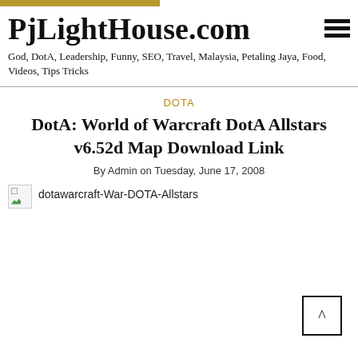PjLightHouse.com
God, DotA, Leadership, Funny, SEO, Travel, Malaysia, Petaling Jaya, Food, Videos, Tips Tricks
DOTA
DotA: World of Warcraft DotA Allstars v6.52d Map Download Link
By Admin on Tuesday, June 17, 2008
[Figure (photo): Broken image placeholder with caption: dotawarcraft-War-DOTA-Allstars]